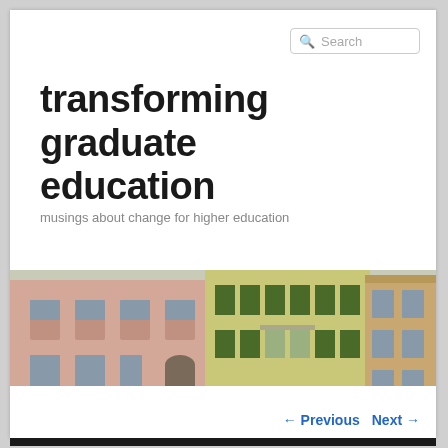transforming graduate education
musings about change for higher education
[Figure (photo): Photo of European-style building facades with colorful exteriors, multiple floors with windows and balconies]
Home   Brief bio   Presentations   TGE Initiative
← Previous   Next →